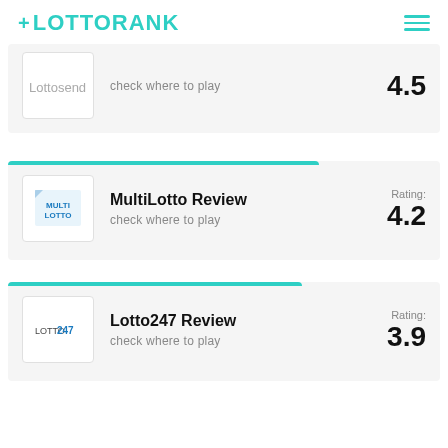+LOTTORANK
check where to play — Rating: 4.5
MultiLotto Review — check where to play — Rating: 4.2
Lotto247 Review — check where to play — Rating: 3.9